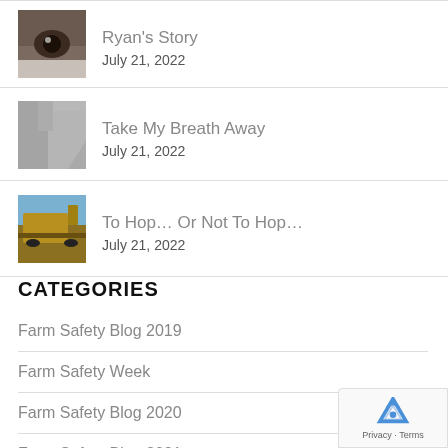Ryan's Story
July 21, 2022
Take My Breath Away
July 21, 2022
To Hop... Or Not To Hop...
July 21, 2022
CATEGORIES
Farm Safety Blog 2019
Farm Safety Week
Farm Safety Blog 2020
Farm Safety Blog 2021